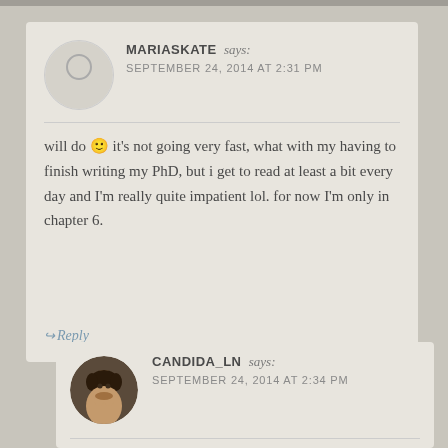MARIASKATE says: SEPTEMBER 24, 2014 AT 2:31 PM
will do 🙂 it's not going very fast, what with my having to finish writing my PhD, but i get to read at least a bit every day and I'm really quite impatient lol. for now I'm only in chapter 6.
Reply
CANDIDA_LN says: SEPTEMBER 24, 2014 AT 2:34 PM
I know what you mean. I spend way too